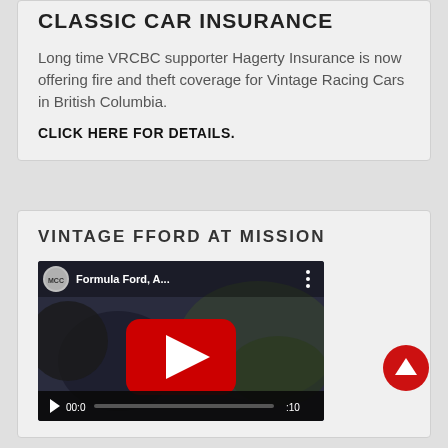CLASSIC CAR INSURANCE
Long time VRCBC supporter Hagerty Insurance is now offering fire and theft coverage for Vintage Racing Cars in British Columbia.
CLICK HERE FOR DETAILS.
VINTAGE FFORD AT MISSION
[Figure (screenshot): YouTube video embed showing 'Formula Ford, A...' with YouTube play button overlay and video progress bar at bottom showing 00:0 timestamp]